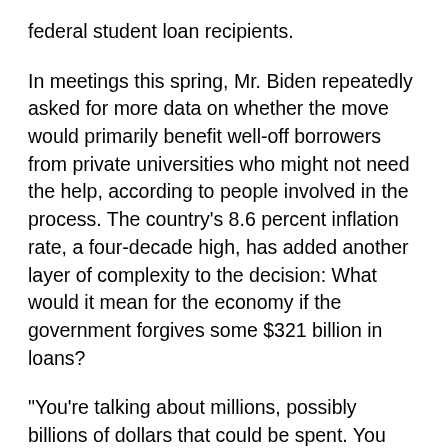federal student loan recipients.
In meetings this spring, Mr. Biden repeatedly asked for more data on whether the move would primarily benefit well-off borrowers from private universities who might not need the help, according to people involved in the process. The country’s 8.6 percent inflation rate, a four-decade high, has added another layer of complexity to the decision: What would it mean for the economy if the government forgives some $321 billion in loans?
“You’re talking about millions, possibly billions of dollars that could be spent. You should do it with eyes wide open,” said Cedric Richmond, who stepped down as a senior adviser to Mr. Biden last month. “He wants to make sure that it’s based in equity and it doesn’t exacerbate disparities.”
While Mr. Biden has yet to make a decision on student